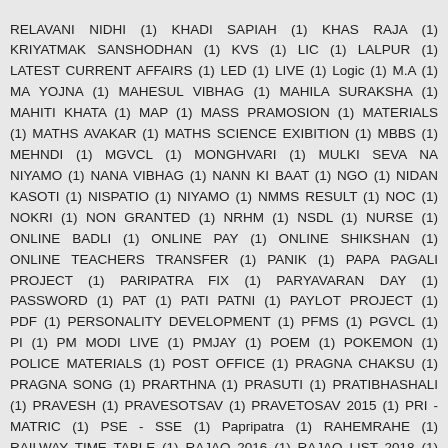RELAVANI NIDHI (1) KHADI SAPIAH (1) KHAS RAJA (1) KRIYATMAK SANSHODHAN (1) KVS (1) LIC (1) LALPUR (1) LATEST CURRENT AFFAIRS (1) LED (1) LIVE (1) Logic (1) M.A (1) MA YOJNA (1) MAHESUL VIBHAG (1) MAHILA SURAKSHA (1) MAHITI KHATA (1) MAP (1) MASS PRAMOSION (1) MATERIALS (1) MATHS AVAKAR (1) MATHS SCIENCE EXIBITION (1) MBBS (1) MEHNDI (1) MGVCL (1) MONGHVARI (1) MULKI SEVA NA NIYAMO (1) NANA VIBHAG (1) NANN KI BAAT (1) NGO (1) NIDAN KASOTI (1) NISPATIO (1) NIYAMO (1) NMMS RESULT (1) NOC (1) NOKRI (1) NON GRANTED (1) NRHM (1) NSDL (1) NURSE (1) ONLINE BADLI (1) ONLINE PAY (1) ONLINE SHIKSHAN (1) ONLINE TEACHERS TRANSFER (1) PANIK (1) PAPA PAGALI PROJECT (1) PARIPATRA FIX (1) PARYAVARAN DAY (1) PASSWORD (1) PAT (1) PATI PATNI (1) PAYLOT PROJECT (1) PDF (1) PERSONALITY DEVELOPMENT (1) PFMS (1) PGVCL (1) PI (1) PM MODI LIVE (1) PMJAY (1) POEM (1) POKEMON (1) POLICE MATERIALS (1) POST OFFICE (1) PRAGNA CHAKSU (1) PRAGNA SONG (1) PRARTHNA (1) PRASUTI (1) PRATIBHASHALI (1) PRAVESH (1) PRAVESOTSAV (1) PRAVETOSAV 2015 (1) PRI - MATRIC (1) PSE - SSE (1) Papripatra (1) RAHEMRAHE (1) RAILWAY TIME TABLE (1) RAJAO 2016 (1) RAJAO LIST 2018 (1) RAKSHA SHAKTI UNI (1) RANGOLI (1) RANGPURANI (1) RASANCARD